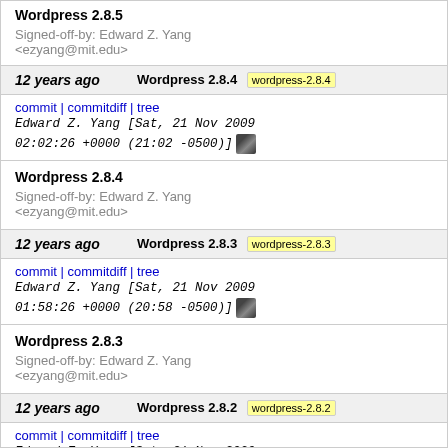Wordpress 2.8.5
Signed-off-by: Edward Z. Yang <ezyang@mit.edu>
12 years ago  Wordpress 2.8.4  wordpress-2.8.4
commit | commitdiff | tree  Edward Z. Yang [Sat, 21 Nov 2009 02:02:26 +0000 (21:02 -0500)]
Wordpress 2.8.4
Signed-off-by: Edward Z. Yang <ezyang@mit.edu>
12 years ago  Wordpress 2.8.3  wordpress-2.8.3
commit | commitdiff | tree  Edward Z. Yang [Sat, 21 Nov 2009 01:58:26 +0000 (20:58 -0500)]
Wordpress 2.8.3
Signed-off-by: Edward Z. Yang <ezyang@mit.edu>
12 years ago  Wordpress 2.8.2  wordpress-2.8.2
commit | commitdiff | tree  Edward Z. Yang [Sat, 21 Nov 2009 01:54:57 +0000 (20:54 -0500)]
Wordpress 2.8.2